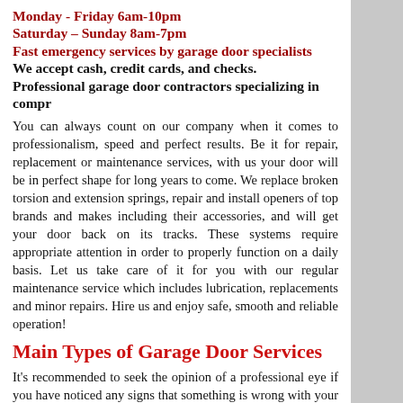Monday - Friday 6am-10pm
Saturday – Sunday 8am-7pm
Fast emergency services by garage door specialists
We accept cash, credit cards, and checks.
Professional garage door contractors specializing in compr
You can always count on our company when it comes to professionalism, speed and perfect results. Be it for repair, replacement or maintenance services, with us your door will be in perfect shape for long years to come. We replace broken torsion and extension springs, repair and install openers of top brands and makes including their accessories, and will get your door back on its tracks. These systems require appropriate attention in order to properly function on a daily basis. Let us take care of it for you with our regular maintenance service which includes lubrication, replacements and minor repairs. Hire us and enjoy safe, smooth and reliable operation!
Main Types of Garage Door Services
It's recommended to seek the opinion of a professional eye if you have noticed any signs that something is wrong with your garage door. A top Sierra Madre garage door repair business can come